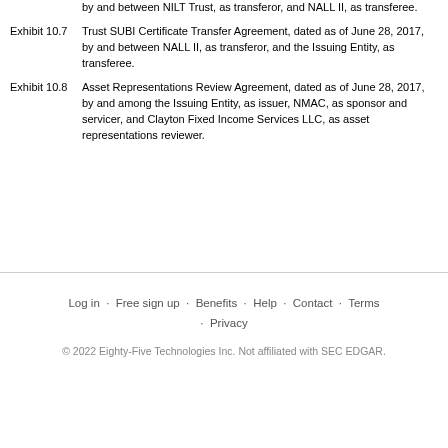by and between NILT Trust, as transferor, and NALL II, as transferee.
Exhibit 10.7 — Trust SUBI Certificate Transfer Agreement, dated as of June 28, 2017, by and between NALL II, as transferor, and the Issuing Entity, as transferee.
Exhibit 10.8 — Asset Representations Review Agreement, dated as of June 28, 2017, by and among the Issuing Entity, as issuer, NMAC, as sponsor and servicer, and Clayton Fixed Income Services LLC, as asset representations reviewer.
Log in · Free sign up · Benefits · Help · Contact · Terms · Privacy
© 2022 Eighty-Five Technologies Inc. Not affiliated with SEC EDGAR.